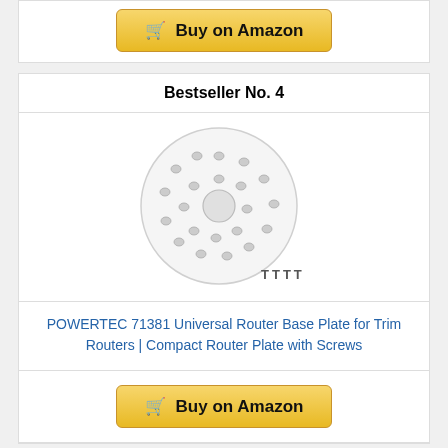[Figure (other): Buy on Amazon button (partial, top of page)]
Bestseller No. 4
[Figure (photo): Product image of POWERTEC 71381 Universal Router Base Plate - circular clear plastic plate with holes and screws, with TTTT text below]
POWERTEC 71381 Universal Router Base Plate for Trim Routers | Compact Router Plate with Screws
[Figure (other): Buy on Amazon button]
Bestseller No. 5